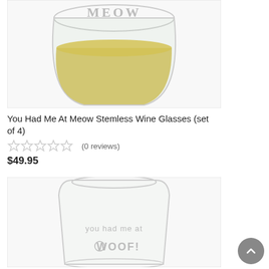[Figure (photo): Stemless wine glass with 'MEOW' text etched at top, filled with white/golden wine]
You Had Me At Meow Stemless Wine Glasses (set of 4)
(0 reviews)
$49.95
[Figure (photo): Clear stemless wine glass with 'you had me at WOOF!' etched text with paw print icon]